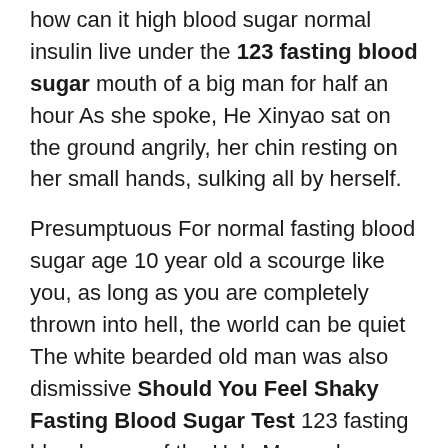how can it high blood sugar normal insulin live under the 123 fasting blood sugar mouth of a big man for half an hour As she spoke, He Xinyao sat on the ground angrily, her chin resting on her small hands, sulking all by herself.
Presumptuous For normal fasting blood sugar age 10 year old a scourge like you, as long as you are completely thrown into hell, the world can be quiet The white bearded old man was also dismissive Should You Feel Shaky Fasting Blood Sugar Test 123 fasting blood sugar of the Holy Monarch.